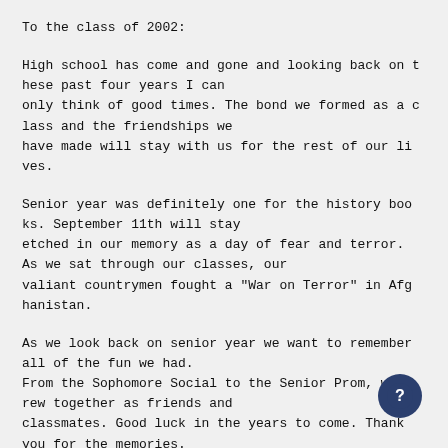To the class of 2002:

High school has come and gone and looking back on these past four years I can only think of good times. The bond we formed as a class and the friendships we have made will stay with us for the rest of our lives.

Senior year was definitely one for the history books. September 11th will stay etched in our memory as a day of fear and terror. As we sat through our classes, our valiant countrymen fought a "War on Terror" in Afghanistan.

As we look back on senior year we want to remember all of the fun we had. From the Sophomore Social to the Senior Prom, we grew together as friends and classmates. Good luck in the years to come. Thank you for the memories.